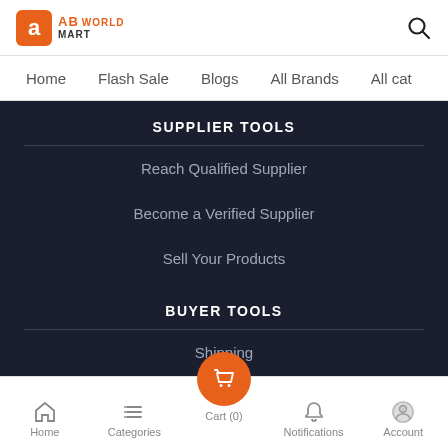AB WORLD MART
Home | Flash Sale | Blogs | All Brands | All cat
SUPPLIER TOOLS
Reach Qualified Supplier
Become a Verified Supplier
Sell Your Products
BUYER TOOLS
Shipping
RFQ
Home | Categories | Cart (0) | Notifications | Account